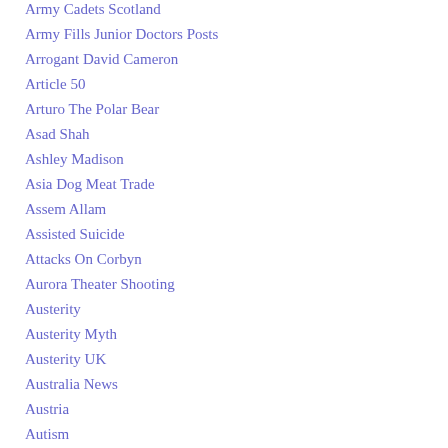Army Cadets Scotland
Army Fills Junior Doctors Posts
Arrogant David Cameron
Article 50
Arturo The Polar Bear
Asad Shah
Ashley Madison
Asia Dog Meat Trade
Assem Allam
Assisted Suicide
Attacks On Corbyn
Aurora Theater Shooting
Austerity
Austerity Myth
Austerity UK
Australia News
Austria
Autism